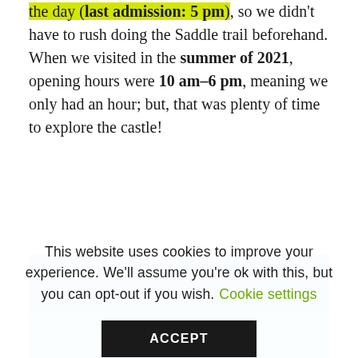the day (last admission: 5 pm), so we didn't have to rush doing the Saddle trail beforehand. When we visited in the summer of 2021, opening hours were 10 am–6 pm, meaning we only had an hour; but, that was plenty of time to explore the castle!
[Figure (photo): Outdoor photograph of a castle building silhouetted against a clear blue sky]
This website uses cookies to improve your experience. We'll assume you're ok with this, but you can opt-out if you wish. Cookie settings ACCEPT